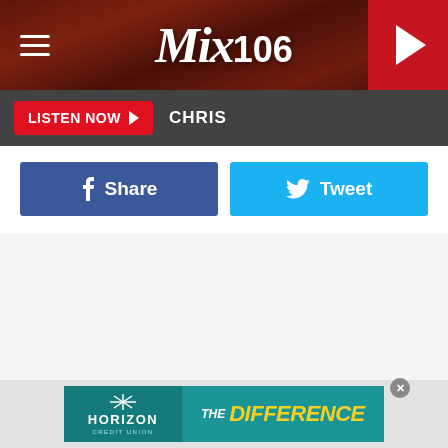Mix 106 — Header navigation bar with hamburger menu, Mix106 logo, and play button
LISTEN NOW ▶ CHRIS
[Figure (other): Facebook Share button (dark blue) and Twitter Tweet button (light blue) side by side]
[Figure (other): Horizon Credit Union advertisement banner — teal background with Horizon Credit Union logo on left and 'THE DIFFERENCE' text in yellow on right]